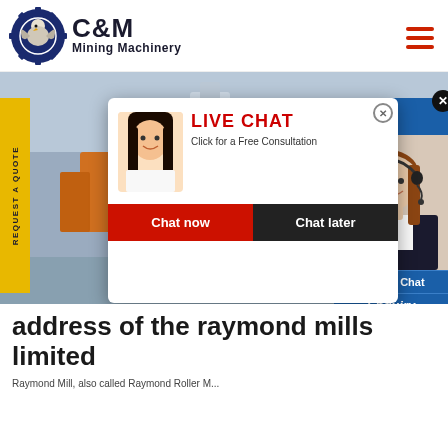[Figure (logo): C&M Mining Machinery logo with eagle in gear circle emblem, dark navy blue, with text C&M and Mining Machinery]
[Figure (photo): Industrial factory interior with machinery and workers in yellow hard hats, with a live chat popup overlay showing a smiling Asian woman and chat buttons, and a right-side widget showing female customer service agent with headset]
address of the raymond mills limited
Raymond Mill, also called Raymond Roller...